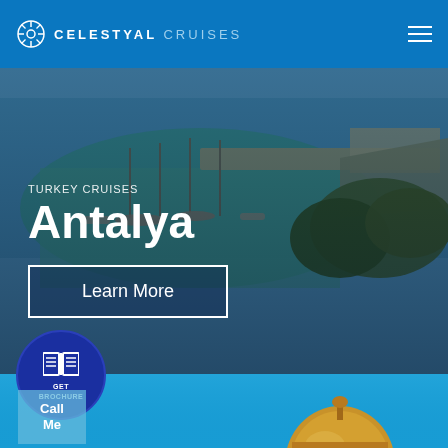CELESTYAL CRUISES
[Figure (photo): Aerial view of Antalya harbor with sailboats, a stone pier extending into blue-green water, and tree-covered coastal area]
TURKEY CRUISES
Antalya
Learn More
[Figure (illustration): GET BROCHURE circular button with book icon on dark blue background]
[Figure (photo): Blue sky with golden mosque dome visible at bottom of section]
Call Me